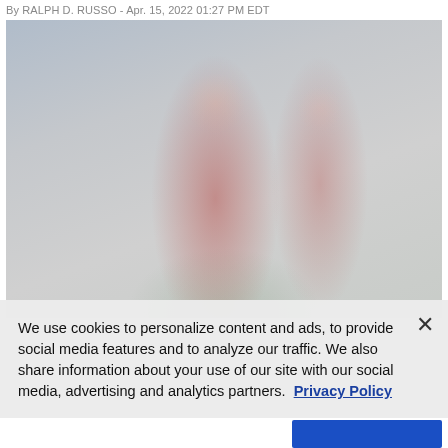By RALPH D. RUSSO - Apr. 15, 2022 01:27 PM EDT
[Figure (photo): A football coach in a red Ohio State jacket with arm raised, shouting instructions on the field. Another player wearing jersey #14 visible in the background. Outdoor practice setting with blurred background.]
We use cookies to personalize content and ads, to provide social media features and to analyze our traffic. We also share information about your use of our site with our social media, advertising and analytics partners.  Privacy Policy